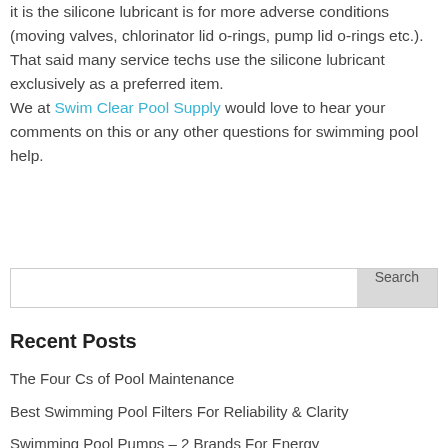it is the silicone lubricant is for more adverse conditions (moving valves, chlorinator lid o-rings, pump lid o-rings etc.). That said many service techs use the silicone lubricant exclusively as a preferred item.
We at Swim Clear Pool Supply would love to hear your comments on this or any other questions for swimming pool help.
[Search input field] Search
Recent Posts
The Four Cs of Pool Maintenance
Best Swimming Pool Filters For Reliability & Clarity
Swimming Pool Pumps – 2 Brands For Energy